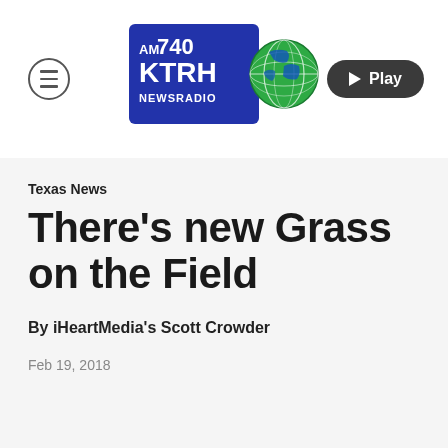AM 740 KTRH NEWSRADIO [logo] Play
Texas News
There's new Grass on the Field
By iHeartMedia's Scott Crowder
Feb 19, 2018